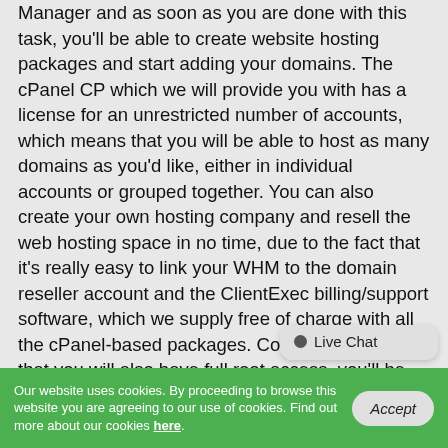Manager and as soon as you are done with this task, you'll be able to create website hosting packages and start adding your domains. The cPanel CP which we will provide you with has a license for an unrestricted number of accounts, which means that you will be able to host as many domains as you'd like, either in individual accounts or grouped together. You can also create your own hosting company and resell the web hosting space in no time, due to the fact that it's really easy to link your WHM to the domain reseller account and the ClientExec billing/support software, which we supply free of charge with all the cPanel-based packages. Considering the fact that you will also have full root access, you'll be able to set up any kind of software on the server which may be required by the scripts that you and your clients would like to use.
[Figure (other): Live Chat bubble overlay in bottom-right corner]
Our website uses cookies. By proceeding to browse this website you are agreeing to our use of cookies. Find out more about our cookies here. Accept